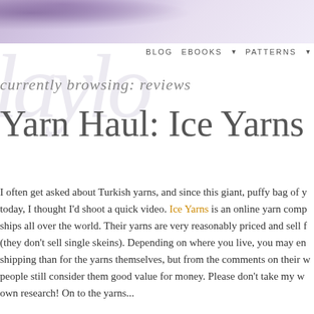[Figure (photo): Decorative blog header image with purple/lavender floral watercolor elements on a light background]
BLOG   EBOOKS ▼   PATTERNS ▼
currently browsing: reviews
Yarn Haul: Ice Yarns
I often get asked about Turkish yarns, and since this giant, puffy bag of y... today, I thought I'd shoot a quick video. Ice Yarns is an online yarn comp... ships all over the world. Their yarns are very reasonably priced and sell f... (they don't sell single skeins). Depending on where you live, you may en... shipping than for the yarns themselves, but from the comments on their w... people still consider them good value for money. Please don't take my w... own research! On to the yarns...